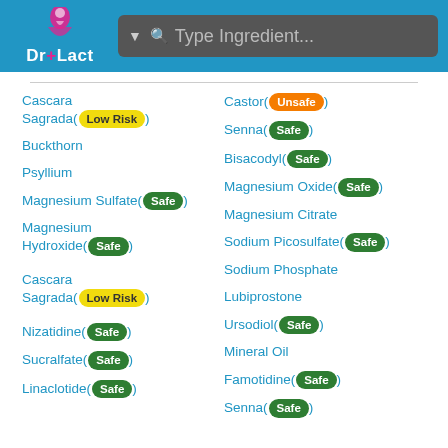Dr+Lact | Type Ingredient...
Cascara Sagrada (Low Risk)
Castor (Unsafe)
Buckthorn
Senna (Safe)
Psyllium
Bisacodyl (Safe)
Magnesium Sulfate (Safe)
Magnesium Oxide (Safe)
Magnesium Hydroxide (Safe)
Magnesium Citrate
Sodium Picosulfate (Safe)
Sodium Phosphate
Cascara Sagrada (Low Risk)
Lubiprostone
Nizatidine (Safe)
Ursodiol (Safe)
Sucralfate (Safe)
Mineral Oil
Linaclotide (Safe)
Famotidine (Safe)
Senna (Safe)